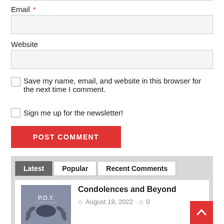Email *
[Figure (screenshot): Empty text input field for Email]
Website
[Figure (screenshot): Empty text input field for Website]
Save my name, email, and website in this browser for the next time I comment.
Sign me up for the newsletter!
POST COMMENT
Latest  Popular  Recent Comments
Condolences and Beyond
August 19, 2022  0